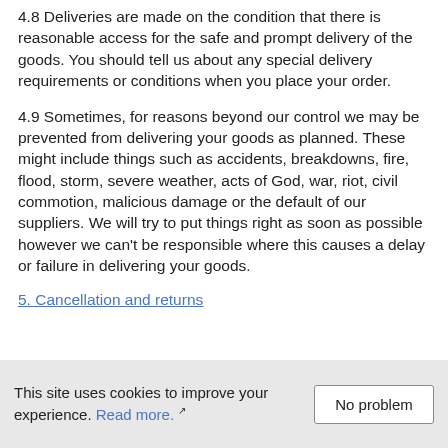4.8 Deliveries are made on the condition that there is reasonable access for the safe and prompt delivery of the goods. You should tell us about any special delivery requirements or conditions when you place your order.
4.9 Sometimes, for reasons beyond our control we may be prevented from delivering your goods as planned. These might include things such as accidents, breakdowns, fire, flood, storm, severe weather, acts of God, war, riot, civil commotion, malicious damage or the default of our suppliers. We will try to put things right as soon as possible however we can't be responsible where this causes a delay or failure in delivering your goods.
5. Cancellation and returns
This site uses cookies to improve your experience. Read more.